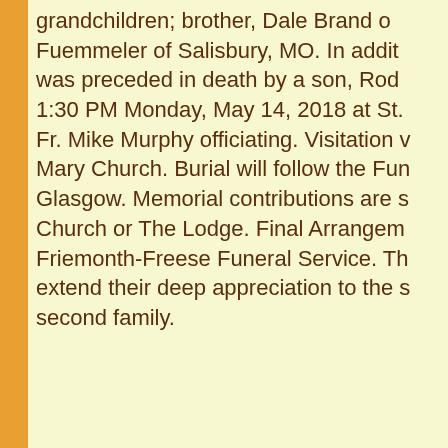grandchildren; brother, Dale Brand of Fuemmeler of Salisbury, MO. In addition, was preceded in death by a son, Rod 1:30 PM Monday, May 14, 2018 at St. Fr. Mike Murphy officiating. Visitation v Mary Church. Burial will follow the Fun Glasgow. Memorial contributions are s Church or The Lodge. Final Arrangem Friemonth-Freese Funeral Service. Th extend their deep appreciation to the s second family.